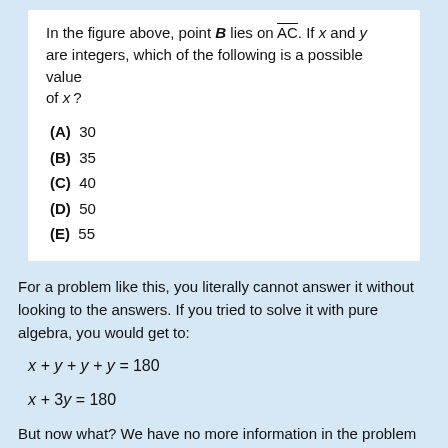In the figure above, point B lies on AC. If x and y are integers, which of the following is a possible value of x?
(A)  30
(B)  35
(C)  40
(D)  50
(E)  55
For a problem like this, you literally cannot answer it without looking to the answers. If you tried to solve it with pure algebra, you would get to:
But now what? We have no more information in the problem itself, so we MUST look to the answers.
So let's first take the information we are given.
We know that a line = 180°. We also know that an integer is a whole number. This means that